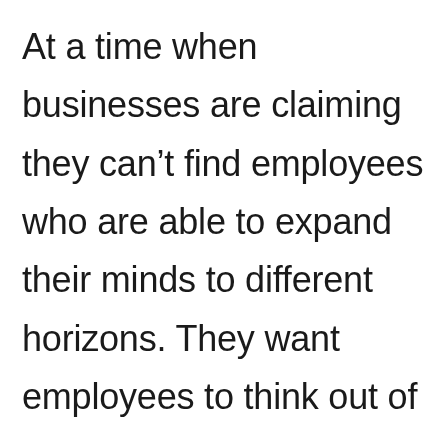At a time when businesses are claiming they can't find employees who are able to expand their minds to different horizons. They want employees to think out of